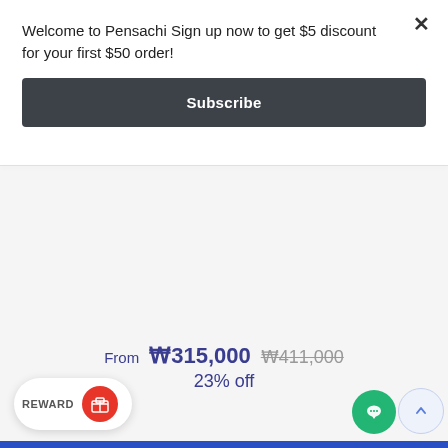Welcome to Pensachi Sign up now to get $5 discount for your first $50 order!
Subscribe
From ₩315,000  ₩411,000
23% off
REWARD